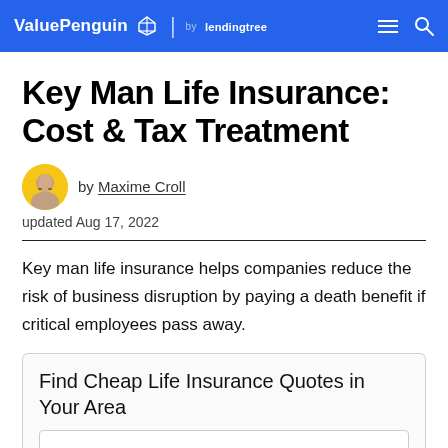ValuePenguin | by lendingtree
Key Man Life Insurance: Cost & Tax Treatment
by Maxime Croll
updated Aug 17, 2022
Key man life insurance helps companies reduce the risk of business disruption by paying a death benefit if critical employees pass away.
Find Cheap Life Insurance Quotes in Your Area